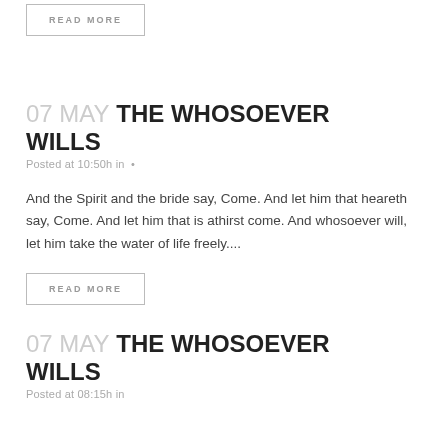READ MORE
07 MAY THE WHOSOEVER WILLS
Posted at 10:50h in •
And the Spirit and the bride say, Come. And let him that heareth say, Come. And let him that is athirst come. And whosoever will, let him take the water of life freely....
READ MORE
07 MAY THE WHOSOEVER WILLS
Posted at 08:15h in